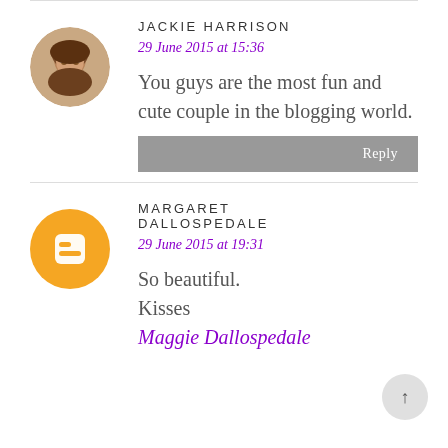JACKIE HARRISON
29 June 2015 at 15:36
You guys are the most fun and cute couple in the blogging world.
Reply
MARGARET DALLOSPEDALE
29 June 2015 at 19:31
So beautiful.
Kisses
Maggie Dallospedale